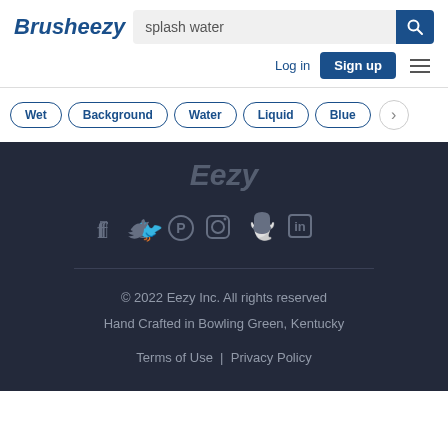Brusheezy — splash water — Log in | Sign up
Wet
Background
Water
Liquid
Blue
[Figure (logo): Eezy logo in italic bold gray text]
[Figure (infographic): Social media icons: Facebook, Twitter, Pinterest, Instagram, Snapchat, LinkedIn]
© 2022 Eezy Inc. All rights reserved
Hand Crafted in Bowling Green, Kentucky
Terms of Use | Privacy Policy